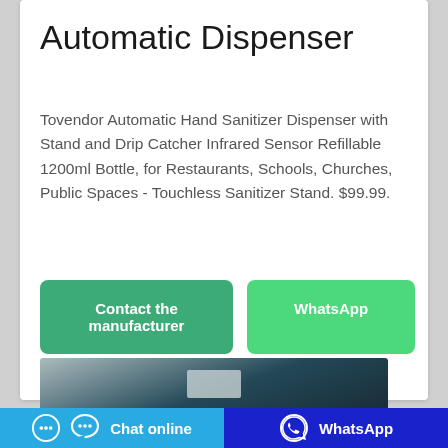Automatic Dispenser
Tovendor Automatic Hand Sanitizer Dispenser with Stand and Drip Catcher Infrared Sensor Refillable 1200ml Bottle, for Restaurants, Schools, Churches, Public Spaces - Touchless Sanitizer Stand. $99.99.
[Figure (screenshot): Two action buttons: 'Contact the manufacturer' (green) and 'WhatsApp' (bright green)]
[Figure (photo): Dark teal product photo showing the bottom portion of the automatic dispenser stand]
[Figure (screenshot): Bottom navigation bar with 'Chat online' button (light blue) and 'WhatsApp' button (dark blue/indigo), each with icons]